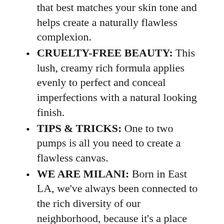that best matches your skin tone and helps create a naturally flawless complexion.
CRUELTY-FREE BEAUTY: This lush, creamy rich formula applies evenly to perfect and conceal imperfections with a natural looking finish.
TIPS & TRICKS: One to two pumps is all you need to create a flawless canvas.
WE ARE MILANI: Born in East LA, we've always been connected to the rich diversity of our neighborhood, because it's a place that truly embodies the melting pot of Los Angeles.
Buy Now
4. MAYBELLINE FIT ME MATTE + PORELESS LIQUID FOUNDATION MAKEUP